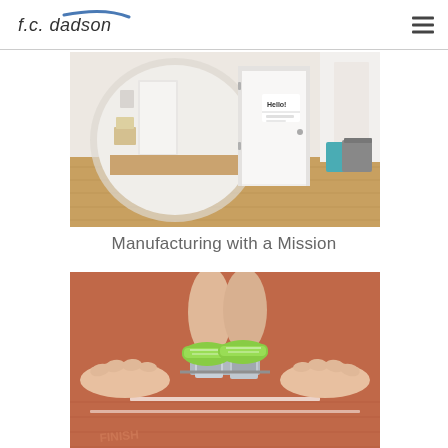f.c. dadson
[Figure (photo): Interior room photo with circular fisheye effect showing white walls, a door with a Hello! sign, hardwood floor, a small cabinet, teal box and gray bin in the corner]
Manufacturing with a Mission
[Figure (photo): Close-up of a runner in starting position at a track, wearing green sneakers, with hands on a red track surface and starting blocks visible]